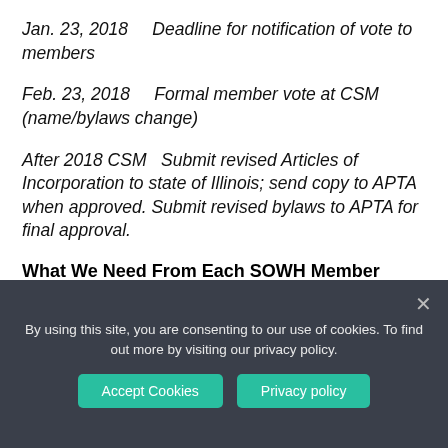Jan. 23, 2018    Deadline for notification of vote to members
Feb. 23, 2018    Formal member vote at CSM (name/bylaws change)
After 2018 CSM  Submit revised Articles of Incorporation to state of Illinois; send copy to APTA when approved. Submit revised bylaws to APTA for final approval.
What We Need From Each SOWH Member
We appreciate your feedback and stories during the past
By using this site, you are consenting to our use of cookies. To find out more by visiting our privacy policy.